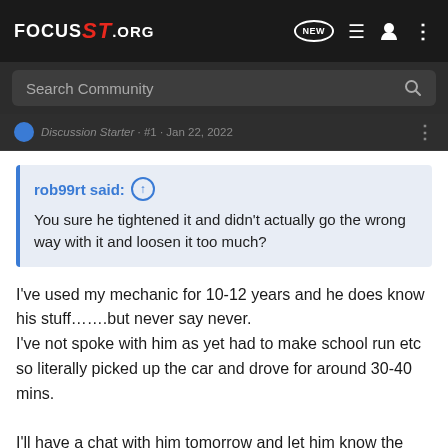FOCUS ST .ORG
Search Community
Discussion Starter · #1 · Jan 22, 2022
rob99rt said: ↑
You sure he tightened it and didn't actually go the wrong way with it and loosen it too much?
I've used my mechanic for 10-12 years and he does know his stuff…….but never say never.
I've not spoke with him as yet had to make school run etc so literally picked up the car and drove for around 30-40 mins.

I'll have a chat with him tomorrow and let him know the issue.

Thanks for the swift reply